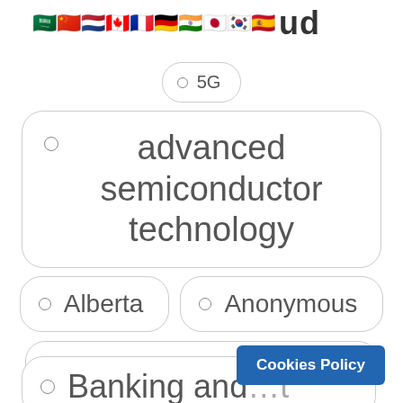[flags] ...ud
5G
advanced semiconductor technology
Alberta
Anonymous
Argumentation & Debate
Artificial Intelligence
Asia
Augmented Reality
autonomous vehicles
Banking and...t
Cookies Policy